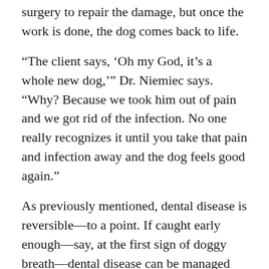surgery to repair the damage, but once the work is done, the dog comes back to life.
“The client says, ‘Oh my God, it’s a whole new dog,’” Dr. Niemiec says. “Why? Because we took him out of pain and we got rid of the infection. No one really recognizes it until you take that pain and infection away and the dog feels good again.”
As previously mentioned, dental disease is reversible—to a point. If caught early enough—say, at the first sign of doggy breath—dental disease can be managed and even reversed.